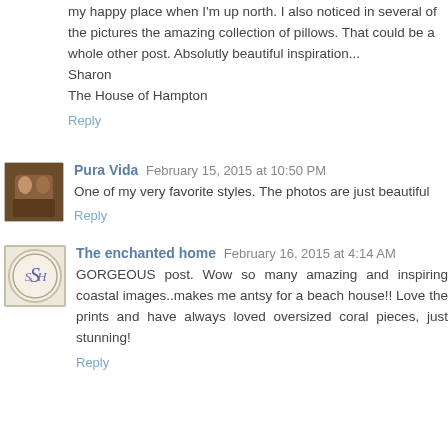my happy place when I'm up north. I also noticed in several of the pictures the amazing collection of pillows. That could be a whole other post. Absolutly beautiful inspiration...
Sharon
The House of Hampton
Reply
Pura Vida  February 15, 2015 at 10:50 PM
One of my very favorite styles. The photos are just beautiful
Reply
The enchanted home  February 16, 2015 at 4:14 AM
GORGEOUS post. Wow so many amazing and inspiring coastal images..makes me antsy for a beach house!! Love the prints and have always loved oversized coral pieces, just stunning!
Reply